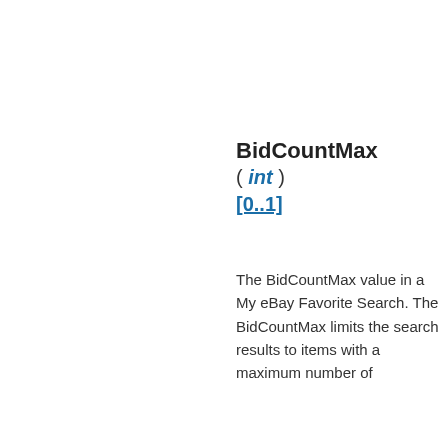BidCountMax ( int ) [0..1]
The BidCountMax value in a My eBay Favorite Search. The BidCountMax limits the search results to items with a maximum number of